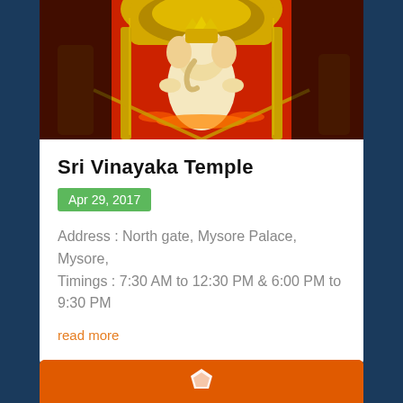[Figure (photo): Photograph of Sri Vinayaka Temple showing Ganesha idol with orange and gold decorations at Mysore Palace North Gate]
Sri Vinayaka Temple
Apr 29, 2017
Address : North gate, Mysore Palace, Mysore,
Timings : 7:30 AM to 12:30 PM & 6:00 PM to 9:30 PM
read more
[Figure (photo): Partial view of another card with orange background and white geometric logo/icon]